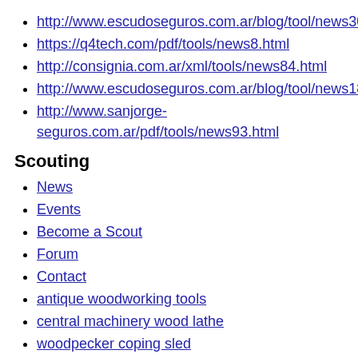http://www.escudoseguros.com.ar/blog/tool/news30.html
https://q4tech.com/pdf/tools/news8.html
http://consignia.com.ar/xml/tools/news84.html
http://www.escudoseguros.com.ar/blog/tool/news18.html
http://www.sanjorge-seguros.com.ar/pdf/tools/news93.html
Scouting
News
Events
Become a Scout
Forum
Contact
antique woodworking tools
central machinery wood lathe
woodpecker coping sled
makita woodworking tools
woodworking tool
Legal
Terms and Conditions
Cookies Policy